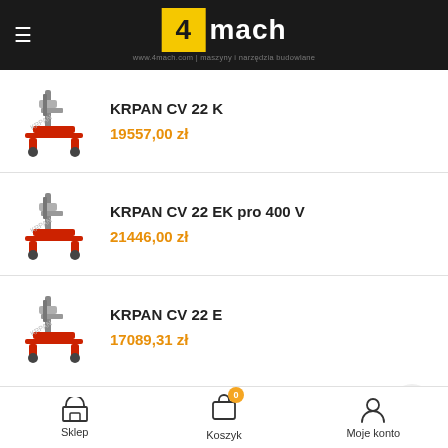[Figure (logo): 4mach logo with yellow box and white text on dark background header]
KRPAN CV 22 K
19557,00 zł
KRPAN CV 22 EK pro 400 V
21446,00 zł
KRPAN CV 22 E
17089,31 zł
TWITTER
Sklep | Koszyk | Moje konto